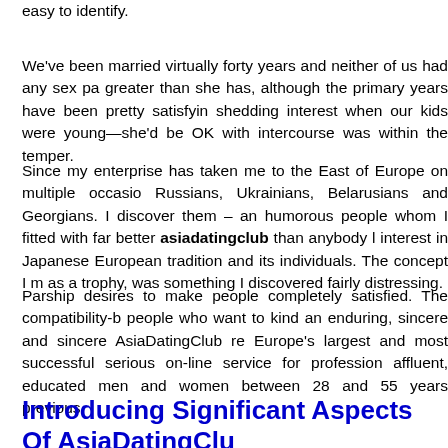easy to identify.
We've been married virtually forty years and neither of us had any sex pa greater than she has, although the primary years have been pretty satisfyin shedding interest when our kids were young—she'd be OK with intercourse was within the temper.
Since my enterprise has taken me to the East of Europe on multiple occasio Russians, Ukrainians, Belarusians and Georgians. I discover them – an humorous people whom I fitted with far better asiadatingclub than anybody l interest in Japanese European tradition and its individuals. The concept I m as a trophy, was something I discovered fairly distressing.
Parship desires to make people completely satisfied. The compatibility-b people who want to kind an enduring, sincere and sincere AsiaDatingClub re Europe's largest and most successful serious on-line service for profession affluent, educated men and women between 28 and 55 years previous.
The degree of heartbreak varies for every lady, but all of us feel depre separating from somebody we invested a lot vitality into. Even AsiaDatingCl as an invitation from you to her to study extra about your superb life.
Introducing Significant Aspects Of AsiaDatingClu